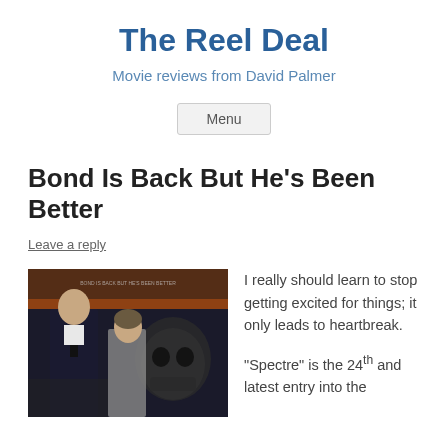The Reel Deal
Movie reviews from David Palmer
Menu
Bond Is Back But He's Been Better
Leave a reply
[Figure (photo): Movie poster for Spectre showing a man in a suit and a woman posing in front of a skull-like background with orange elements]
I really should learn to stop getting excited for things; it only leads to heartbreak.

"Spectre" is the 24th and latest entry into the